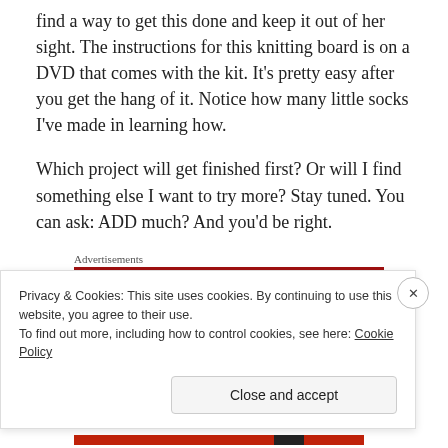find a way to get this done and keep it out of her sight. The instructions for this knitting board is on a DVD that comes with the kit. It’s pretty easy after you get the hang of it. Notice how many little socks I’ve made in learning how.
Which project will get finished first? Or will I find something else I want to try more? Stay tuned. You can ask: ADD much? And you’d be right.
Advertisements
[Figure (other): Dark red advertisement banner bar]
Privacy & Cookies: This site uses cookies. By continuing to use this website, you agree to their use.
To find out more, including how to control cookies, see here: Cookie Policy
Close and accept